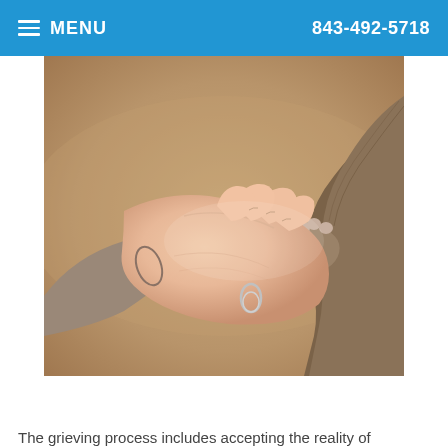MENU  843-492-5718
[Figure (photo): A human hand holding a dog's paw, close-up photograph with warm blurred background]
The grieving process includes accepting the reality of